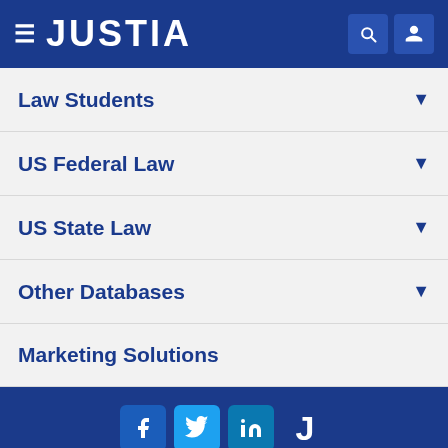JUSTIA
Law Students
US Federal Law
US State Law
Other Databases
Marketing Solutions
[Figure (logo): Social media icons: Facebook, Twitter, LinkedIn, Justia]
© 2022 Justia
Justia Connect